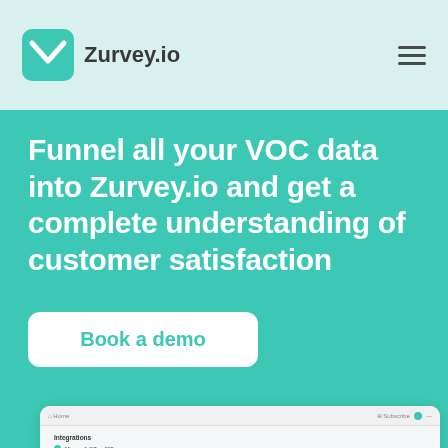Zurvey.io
Funnel all your VOC data into Zurvey.io and get a complete understanding of customer satisfaction
Book a demo
[Figure (screenshot): Screenshot of Zurvey.io dashboard showing integration setup options including Microsoft Office 365, campaign connect, and Accept Payments in trial, with configuration fields and automation settings]